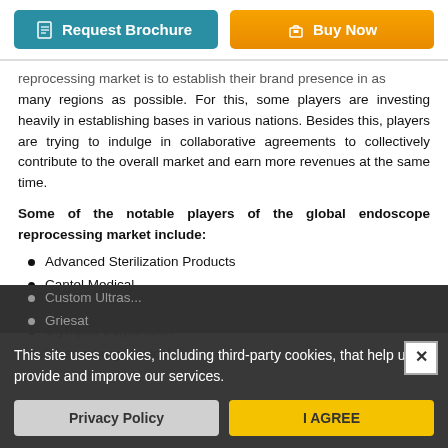[Figure (other): Request Brochure and Buy Now buttons at the top of the page]
reprocessing market is to establish their brand presence in as many regions as possible. For this, some players are investing heavily in establishing bases in various nations. Besides this, players are trying to indulge in collaborative agreements to collectively contribute to the overall market and earn more revenues at the same time.
Some of the notable players of the global endoscope reprocessing market include:
Advanced Sterilization Products
Cantel Medical
Ecolab
Olympus Corporation
Wassenburg Medical
STERIS
Custom Ultras...
Griesat
This site uses cookies, including third-party cookies, that help us to provide and improve our services.